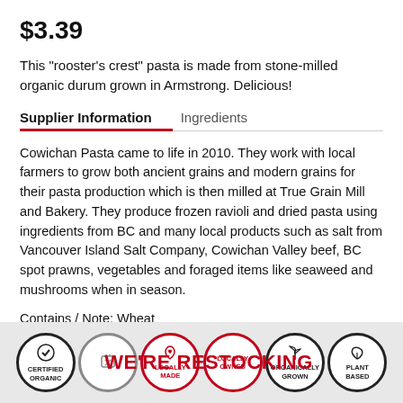$3.39
This "rooster's crest" pasta is made from stone-milled organic durum grown in Armstrong. Delicious!
Supplier Information
Cowichan Pasta came to life in 2010. They work with local farmers to grow both ancient grains and modern grains for their pasta production which is then milled at True Grain Mill and Bakery. They produce frozen ravioli and dried pasta using ingredients from BC and many local products such as salt from Vancouver Island Salt Company, Cowichan Valley beef, BC spot prawns, vegetables and foraged items like seaweed and mushrooms when in season.
Contains / Note: Wheat
[Figure (infographic): Six circular badges at the bottom: Certified Organic (black border), No Artificial Additives (gray border), Locally Made (red border with heart), Locally Owned (red border), Organically Grown (black border with plant), Plant Based (black border with leaf). Overlaid with 'WE'RE RESTOCKING' text in red.]